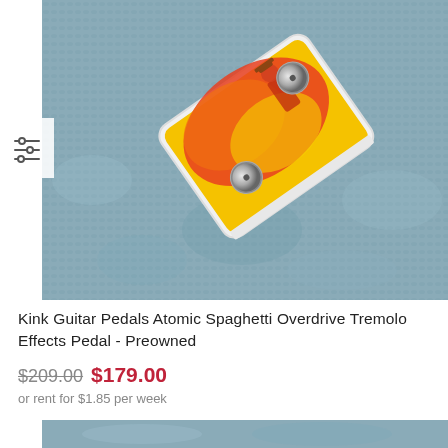[Figure (photo): A Kink Guitar Pedals Atomic Spaghetti Overdrive Tremolo effects pedal with colorful western/cowboy artwork on its face, two chrome knobs, white casing, photographed on a blue-grey textured carpet background. A filter/settings icon is visible on the left side.]
Kink Guitar Pedals Atomic Spaghetti Overdrive Tremolo Effects Pedal - Preowned
$209.00 $179.00
or rent for $1.85 per week
[Figure (photo): Bottom portion of another product photo, showing blue-grey textured background.]